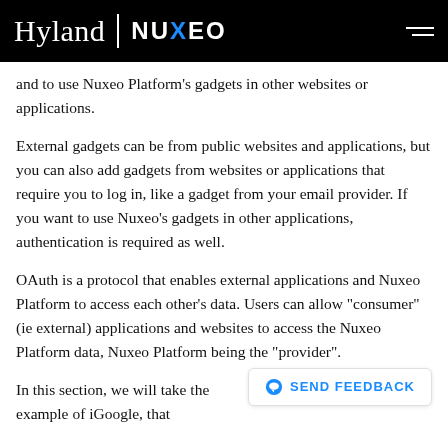Hyland | NUXEO
and to use Nuxeo Platform's gadgets in other websites or applications.
External gadgets can be from public websites and applications, but you can also add gadgets from websites or applications that require you to log in, like a gadget from your email provider. If you want to use Nuxeo's gadgets in other applications, authentication is required as well.
OAuth is a protocol that enables external applications and Nuxeo Platform to access each other's data. Users can allow "consumer" (ie external) applications and websites to access the Nuxeo Platform data, Nuxeo Platform being the "provider".
In this section, we will take the example of iGoogle, that